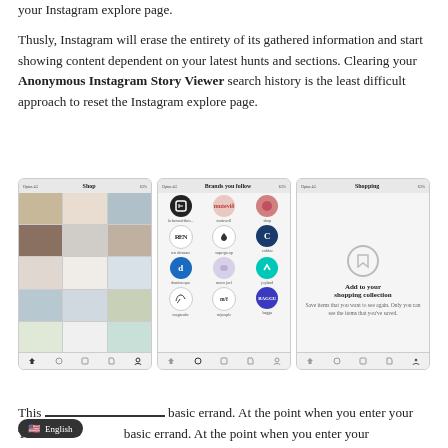your Instagram explore page.
Thusly, Instagram will erase the entirety of its gathered information and start showing content dependent on your latest hunts and sections. Clearing your Anonymous Instagram Story Viewer search history is the least difficult approach to reset the Instagram explore page.
[Figure (screenshot): Three Instagram mobile app screenshots side by side: Shop grid view, Brands you follow page, and Shopping collection page]
This basic errand. At the point when you enter your